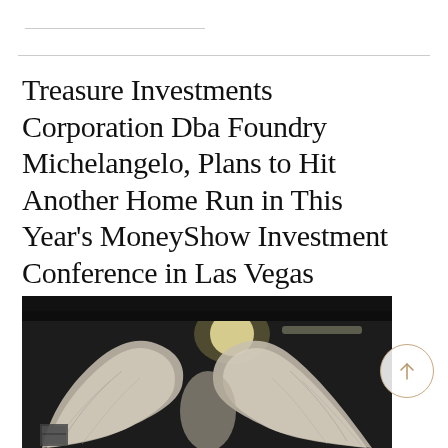Treasure Investments Corporation Dba Foundry Michelangelo, Plans to Hit Another Home Run in This Year's MoneyShow Investment Conference in Las Vegas
[Figure (photo): Black and white photograph of a large metallic sculpture of spread wings (angel or eagle wings), displayed indoors with ceiling lights visible in the background.]